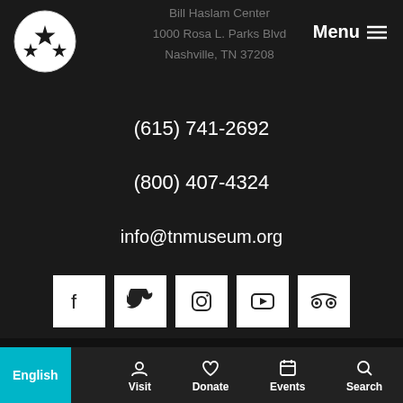[Figure (logo): Tennessee state flag logo — white circle with three stars on dark background]
Bill Haslam Center
1000 Rosa L. Parks Blvd
Nashville, TN 37208
Menu
(615) 741-2692
(800) 407-4324
info@tnmuseum.org
[Figure (infographic): Social media icons: Facebook, Twitter, Instagram, YouTube, TripAdvisor — each in a white square]
Tennessee State Museum © 2022
Web Design by Speak
English
Visit
Donate
Events
Search